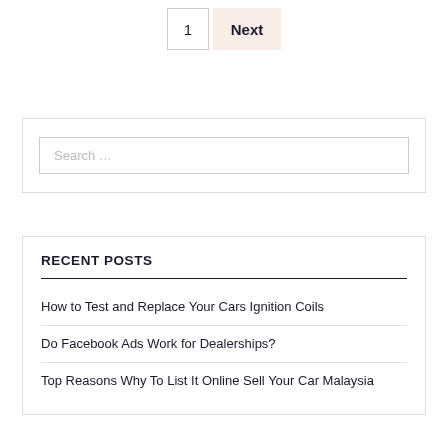1  Next
Search ...
RECENT POSTS
How to Test and Replace Your Cars Ignition Coils
Do Facebook Ads Work for Dealerships?
Top Reasons Why To List It Online Sell Your Car Malaysia